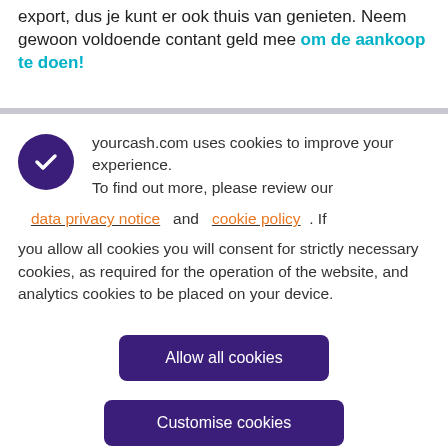export, dus je kunt er ook thuis van genieten. Neem gewoon voldoende contant geld mee om de aankoop te doen!
yourcash.com uses cookies to improve your experience. To find out more, please review our data privacy notice and cookie policy. If you allow all cookies you will consent for strictly necessary cookies, as required for the operation of the website, and analytics cookies to be placed on your device.
Allow all cookies
Customise cookies